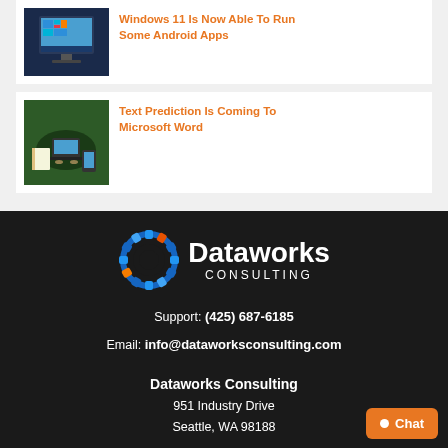[Figure (screenshot): Thumbnail of a computer monitor with Windows interface]
Windows 11 Is Now Able To Run Some Android Apps
[Figure (photo): Overhead view of person typing on laptop with notebook and phone on green surface]
Text Prediction Is Coming To Microsoft Word
[Figure (logo): Dataworks Consulting logo with gear icon]
Support: (425) 687-6185
Email: info@dataworksconsulting.com
Dataworks Consulting
951 Industry Drive
Seattle, WA 98188